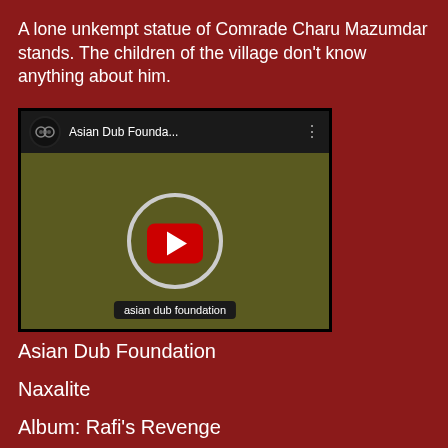A lone unkempt statue of Comrade Charu Mazumdar stands. The children of the village don't know anything about him.
[Figure (screenshot): YouTube video embed thumbnail for Asian Dub Foundation showing their logo (circle with 'ad' letters) on an olive/dark green background with a red YouTube play button in the center, and 'asian dub foundation' text label at the bottom. The top bar shows the channel avatar, title 'Asian Dub Founda...' and three-dot menu.]
Asian Dub Foundation
Naxalite
Album: Rafi's Revenge